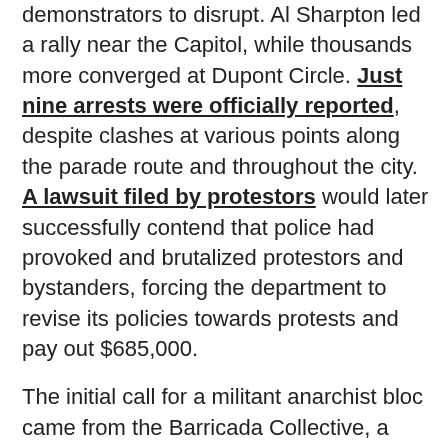demonstrators to disrupt. Al Sharpton led a rally near the Capitol, while thousands more converged at Dupont Circle. Just nine arrests were officially reported, despite clashes at various points along the parade route and throughout the city. A lawsuit filed by protestors would later successfully contend that police had provoked and brutalized protestors and bystanders, forcing the department to revise its policies towards protests and pay out $685,000.

The initial call for a militant anarchist bloc came from the Barricada Collective, a project of the Boston chapter of the Northeast Federation of Anarcho-Communists (NEFAC). An invitation-only spokescouncil took place the night before, at which folks planned the march route and discussed tactics. And a tentid black bloc came to the corner of